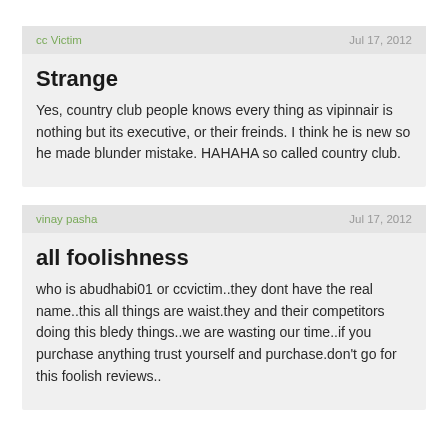cc Victim | Jul 17, 2012
Strange
Yes, country club people knows every thing as vipinnair is nothing but its executive, or their freinds. I think he is new so he made blunder mistake. HAHAHA so called country club.
vinay pasha | Jul 17, 2012
all foolishness
who is abudhabi01 or ccvictim..they dont have the real name..this all things are waist.they and their competitors doing this bledy things..we are wasting our time..if you purchase anything trust yourself and purchase.don't go for this foolish reviews..